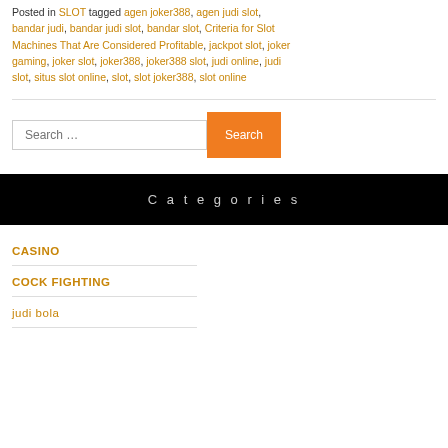Posted in SLOT tagged agen joker388, agen judi slot, bandar judi, bandar judi slot, bandar slot, Criteria for Slot Machines That Are Considered Profitable, jackpot slot, joker gaming, joker slot, joker388, joker388 slot, judi online, judi slot, situs slot online, slot, slot joker388, slot online
Search ...
Categories
CASINO
COCK FIGHTING
judi bola